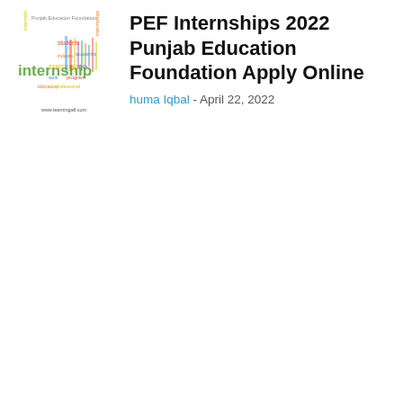[Figure (illustration): Word cloud image related to internships and Punjab Education Foundation. Words like 'internship', 'students', 'experience', 'academic', 'industry' in yellow, green, red colors. Text at top: 'Punjab Education Foundation'. URL at bottom: www.learningall.com]
PEF Internships 2022 Punjab Education Foundation Apply Online
huma Iqbal - April 22, 2022